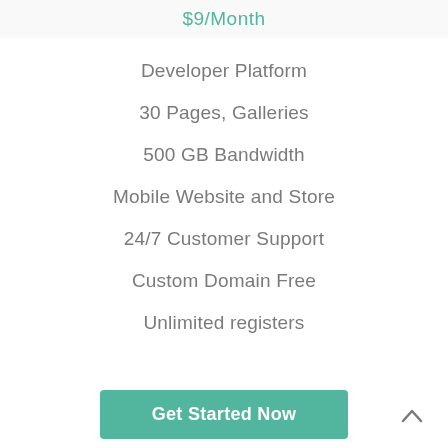$9/Month
Developer Platform
30 Pages, Galleries
500 GB Bandwidth
Mobile Website and Store
24/7 Customer Support
Custom Domain Free
Unlimited registers
Get Started Now